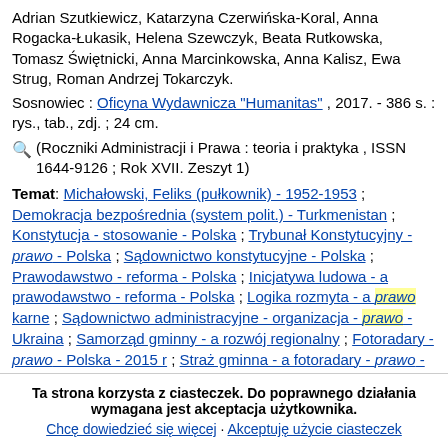Adrian Szutkiewicz, Katarzyna Czerwińska-Koral, Anna Rogacka-Łukasik, Helena Szewczyk, Beata Rutkowska, Tomasz Świętnicki, Anna Marcinkowska, Anna Kalisz, Ewa Strug, Roman Andrzej Tokarczyk.
Sosnowiec : Oficyna Wydawnicza "Humanitas" , 2017. - 386 s. : rys., tab., zdj. ; 24 cm.
(Roczniki Administracji i Prawa : teoria i praktyka , ISSN 1644-9126 ; Rok XVII. Zeszyt 1)
Temat: Michałowski, Feliks (pułkownik) - 1952-1953 ; Demokracja bezpośrednia (system polit.) - Turkmenistan ; Konstytucja - stosowanie - Polska ; Trybunał Konstytucyjny - prawo - Polska ; Sądownictwo konstytucyjne - Polska ; Prawodawstwo - reforma - Polska ; Inicjatywa ludowa - a prawodawstwo - reforma - Polska ; Logika rozmyta - a prawo karne ; Sądownictwo administracyjne - organizacja - prawo - Ukraina ; Samorząd gminny - a rozwój regionalny ; Fotoradary - prawo - Polska - 2015 r ; Straż gminna - a fotoradary - prawo - Polska - 2015 r ; Postępowanie administracyjne - Polska - 2017 r ; Ptasia grypa - zwalczanie ; Choroby wirusowe - weterynaria ; Organizacja Współpracy Gospodarczej i Rozwoju ; Przedsiębiorstwo wielonarodowe - organizacja - prawo ; Przedsiębiorczość międzynarodowa - prawo
Ta strona korzysta z ciasteczek. Do poprawnego działania wymagana jest akceptacja użytkownika.
Chcę dowiedzieć się więcej · Akceptuję użycie ciasteczek